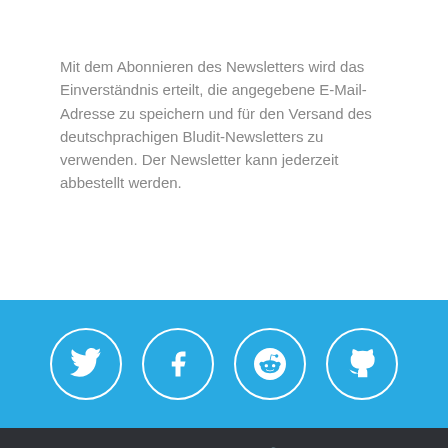Mit dem Abonnieren des Newsletters wird das Einverständnis erteilt, die angegebene E-Mail-Adresse zu speichern und für den Versand des deutschprachigen Bludit-Newsletters zu verwenden. Der Newsletter kann jederzeit abbestellt werden.
[Figure (other): Social media icon links row: Twitter, Facebook, Reddit, GitHub — white circle icons on blue background]
Board index | Contact us | Privacy policy | ≡ | Powered by phpBB™